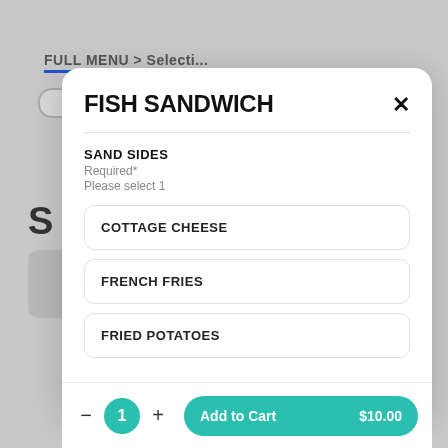FISH SANDWICH
SAND SIDES
Required*
Please select 1
COTTAGE CHEESE
FRENCH FRIES
FRIED POTATOES
1
Add to Cart   $10.00